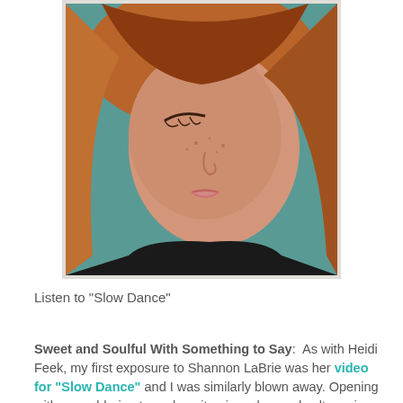[Figure (photo): Close-up portrait of a young woman with reddish-brown hair and freckles, eyes cast downward, soft focus background.]
Listen to "Slow Dance"
Sweet and Soulful With Something to Say:  As with Heidi Feek, my first exposure to Shannon LaBrie was her video for "Slow Dance" and I was similarly blown away. Opening with a smoldering tremolo guitar, in a slow and sultry voice, "I'm like a deep drag of smoke / I'm like a fire burning low / I'm like an old song you used to know / Ray Charles on the radio."